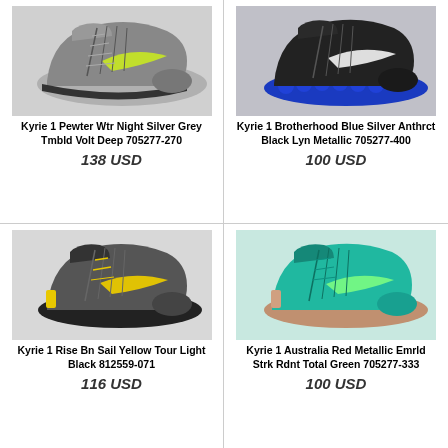[Figure (photo): Nike Kyrie 1 basketball shoe in grey/silver with volt yellow swoosh]
Kyrie 1 Pewter Wtr Night Silver Grey Tmbld Volt Deep 705277-270
138 USD
[Figure (photo): Nike Kyrie 1 basketball shoe in blue/black with white swoosh]
Kyrie 1 Brotherhood Blue Silver Anthrct Black Lyn Metallic 705277-400
100 USD
[Figure (photo): Nike Kyrie 1 basketball shoe in dark grey with yellow swoosh]
Kyrie 1 Rise Bn Sail Yellow Tour Light Black 812559-071
116 USD
[Figure (photo): Nike Kyrie 1 basketball shoe in teal/green with light green swoosh]
Kyrie 1 Australia Red Metallic Emrld Strk Rdnt Total Green 705277-333
100 USD